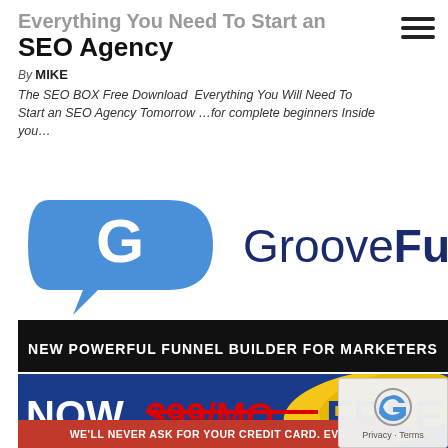☰ (hamburger menu icon)
Everything You Need To Start an SEO Agency
By MIKE
The SEO BOX Free Download  Everything You Will Need To Start an SEO Agency Tomorrow …for complete beginners Inside you…
[Figure (logo): GrooveFunnels logo with blue speech-bubble G icon and GrooveFunnels text]
[Figure (infographic): Black banner: NEW POWERFUL FUNNEL BUILDER FOR MARKETERS]
[Figure (infographic): Dark blue banner: NOW $99/MO (strikethrough red) FREE with yellow brush stroke background and red bar WE'LL NEVER ASK FOR YOUR CREDIT CARD. EVE...]